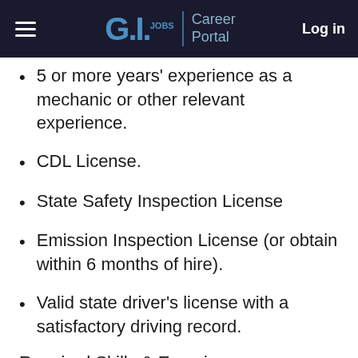G.I.JOBS | Career Portal   Log in
5 or more years' experience as a mechanic or other relevant experience.
CDL License.
State Safety Inspection License
Emission Inspection License (or obtain within 6 months of hire).
Valid state driver's license with a satisfactory driving record.
Required Skills & Experience